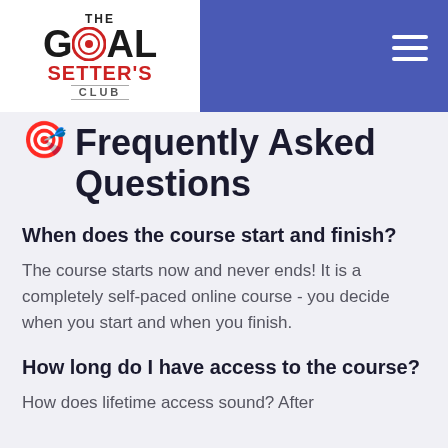The Goal Setter's Club
🎯 Frequently Asked Questions
When does the course start and finish?
The course starts now and never ends! It is a completely self-paced online course - you decide when you start and when you finish.
How long do I have access to the course?
How does lifetime access sound? After